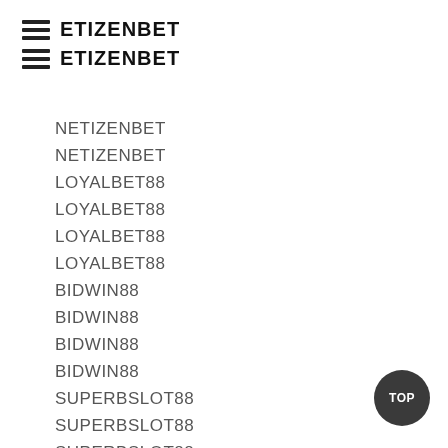ETIZENBET
ETIZENBET
NETIZENBET
NETIZENBET
LOYALBET88
LOYALBET88
LOYALBET88
LOYALBET88
BIDWIN88
BIDWIN88
BIDWIN88
BIDWIN88
SUPERBSLOT88
SUPERBSLOT88
SUPERBSLOT88
SUPERBSLOT88
TELEWIN88
TELEWIN88
TELEWIN88